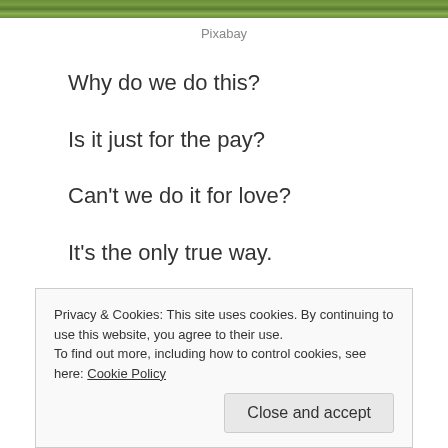[Figure (photo): Green grass or foliage image strip at top of page]
Pixabay
Why do we do this?
Is it just for the pay?
Can't we do it for love?
It's the only true way.
Privacy & Cookies: This site uses cookies. By continuing to use this website, you agree to their use.
To find out more, including how to control cookies, see here: Cookie Policy